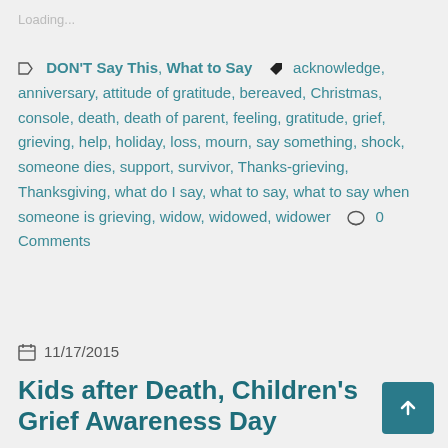Loading...
DON'T Say This, What to Say  acknowledge, anniversary, attitude of gratitude, bereaved, Christmas, console, death, death of parent, feeling, gratitude, grief, grieving, help, holiday, loss, mourn, say something, shock, someone dies, support, survivor, Thanks-grieving, Thanksgiving, what do I say, what to say, what to say when someone is grieving, widow, widowed, widower  0 Comments
11/17/2015
Kids after Death, Children's Grief Awareness Day